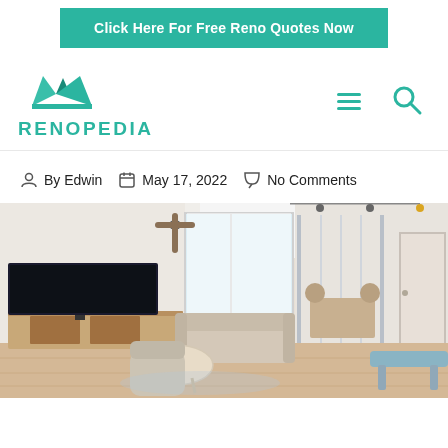Click Here For Free Reno Quotes Now
[Figure (logo): Renopedia logo with teal crown icon and teal text RENOPEDIA, plus hamburger menu and search icons]
By Edwin   May 17, 2022   No Comments
[Figure (photo): Modern Scandinavian-style HDB living room with TV console, sofa, coffee table, wooden flooring, ceiling fan, and glass partition to dining area]